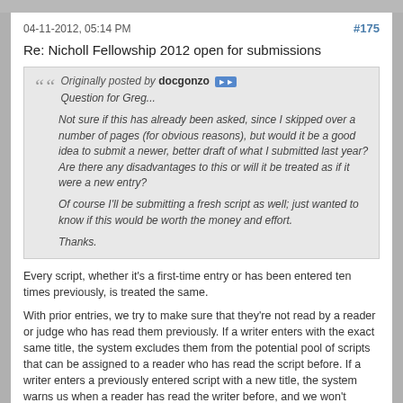04-11-2012, 05:14 PM  #175
Re: Nicholl Fellowship 2012 open for submissions
Originally posted by docgonzo
Question for Greg...

Not sure if this has already been asked, since I skipped over a number of pages (for obvious reasons), but would it be a good idea to submit a newer, better draft of what I submitted last year? Are there any disadvantages to this or will it be treated as if it were a new entry?

Of course I'll be submitting a fresh script as well; just wanted to know if this would be worth the money and effort.

Thanks.
Every script, whether it's a first-time entry or has been entered ten times previously, is treated the same.
With prior entries, we try to make sure that they're not read by a reader or judge who has read them previously. If a writer enters with the exact same title, the system excludes them from the potential pool of scripts that can be assigned to a reader who has read the script before. If a writer enters a previously entered script with a new title, the system warns us when a reader has read the writer before, and we won't assign the script to that reader.